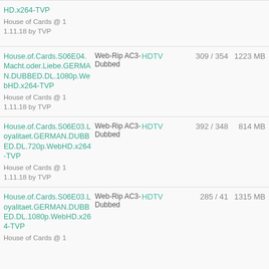HD.x264-TVP
House of Cards @ 11.11.18 by TVP
House.of.Cards.S06E04.Macht.oder.Liebe.GERMAN.DUBBED.DL.1080p.WebHD.x264-TVP
House of Cards @ 11.11.18 by TVP | Web-Rip AC3-Dubbed | HDTV | 309 / 354 | 1223 MB
House.of.Cards.S06E03.Loyalitaet.GERMAN.DUBBED.DL.720p.WebHD.x264-TVP
House of Cards @ 11.11.18 by TVP | Web-Rip AC3-Dubbed | HDTV | 392 / 348 | 814 MB
House.of.Cards.S06E03.Loyalitaet.GERMAN.DUBBED.DL.1080p.WebHD.x264-TVP
House of Cards @ 11.11.18 by TVP | Web-Rip AC3-Dubbed | HDTV | 285 / 41 | 1315 MB